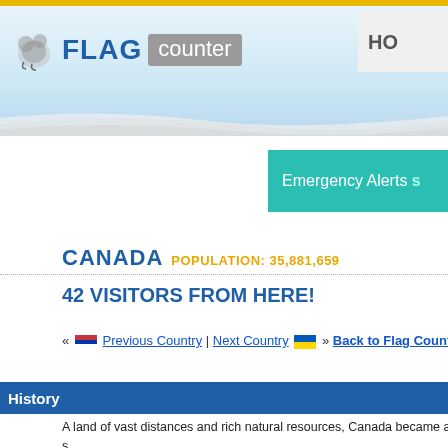FLAG counter — HO
[Figure (logo): Flag Counter logo with bear icon, FLAG in blue bold, counter in gray box]
[Figure (infographic): Emergency Alerts banner in teal/cyan color with white text: Emergency Alerts s...]
CANADA POPULATION: 35,881,659
42 VISITORS FROM HERE!
« [Serbia flag] Previous Country | Next Country [Ukraine flag] » Back to Flag Counter Overview
History
A land of vast distances and rich natural resources, Canada became a s... Canada repatriated its constitution from the UK in 1982, severing a fina...